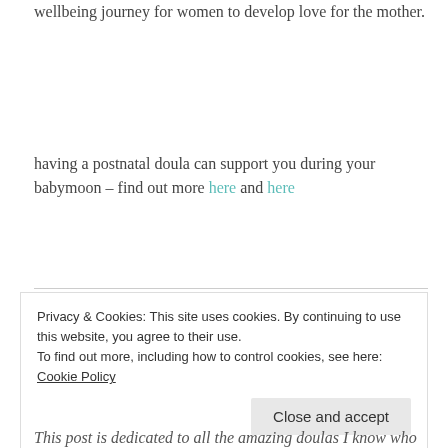wellbeing journey for women to develop love for the mother.
having a postnatal doula can support you during your babymoon – find out more here and here
Privacy & Cookies: This site uses cookies. By continuing to use this website, you agree to their use. To find out more, including how to control cookies, see here: Cookie Policy
Close and accept
This post is dedicated to all the amazing doulas I know who